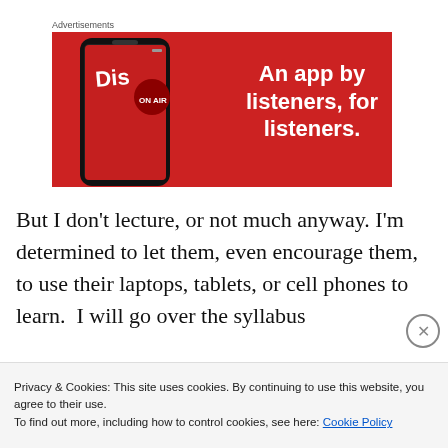Advertisements
[Figure (illustration): Red advertisement banner featuring a smartphone with 'Dis...' app visible, and white bold text reading 'An app by listeners, for listeners.']
But I don't lecture, or not much anyway. I'm determined to let them, even encourage them, to use their laptops, tablets, or cell phones to learn.  I will go over the syllabus
Privacy & Cookies: This site uses cookies. By continuing to use this website, you agree to their use.
To find out more, including how to control cookies, see here: Cookie Policy